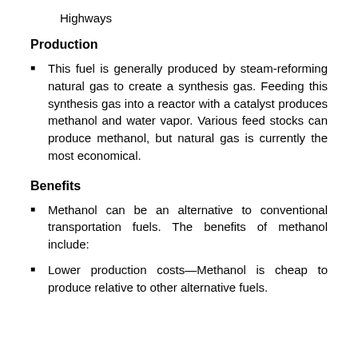Highways
Production
This fuel is generally produced by steam-reforming natural gas to create a synthesis gas. Feeding this synthesis gas into a reactor with a catalyst produces methanol and water vapor. Various feed stocks can produce methanol, but natural gas is currently the most economical.
Benefits
Methanol can be an alternative to conventional transportation fuels. The benefits of methanol include:
Lower production costs—Methanol is cheap to produce relative to other alternative fuels.